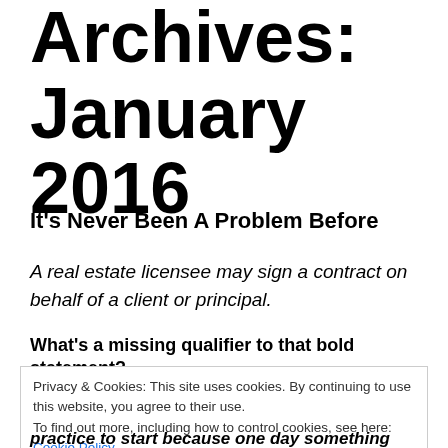Archives: January 2016
It's Never Been A Problem Before
A real estate licensee may sign a contract on behalf of a client or principal.
What's a missing qualifier to that bold statement?
Privacy & Cookies: This site uses cookies. By continuing to use this website, you agree to their use.
To find out more, including how to control cookies, see here:
Cookie Policy
Close and accept
practice to start because one day something will go